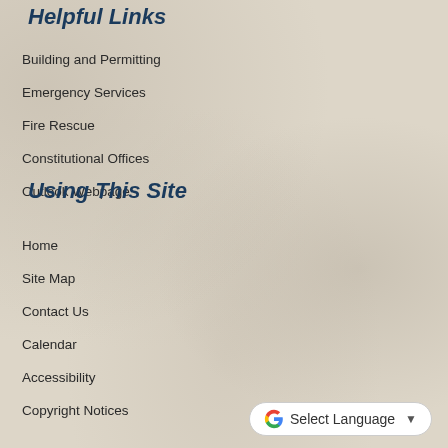Helpful Links
Building and Permitting
Emergency Services
Fire Rescue
Constitutional Offices
Outlook Webpage
Using This Site
Home
Site Map
Contact Us
Calendar
Accessibility
Copyright Notices
[Figure (other): Google Translate widget button with 'Select Language' text and dropdown arrow]